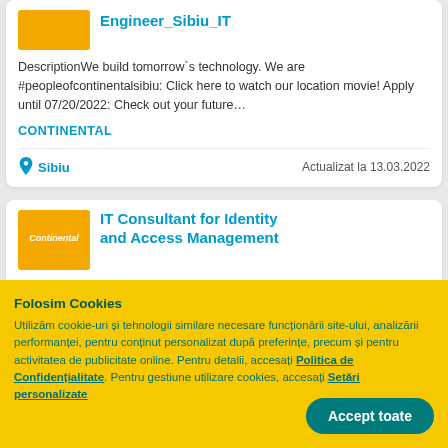Engineer_Sibiu_IT
DescriptionWe build tomorrow`s technology. We are #peopleofcontinentalsibiu: Click here to watch our location movie! Apply until 07/20/2022: Check out your future…
CONTINENTAL
Sibiu   Actualizat la 13.03.2022
IT Consultant for Identity and Access Management
Folosim Cookies
Utilizăm cookie-uri și tehnologii similare necesare funcționării site-ului, analizării performanței, pentru conținut personalizat după preferințe, precum și pentru activitatea de publicitate online. Pentru detalii, accesați Politica de Confidențialitate. Pentru gestiune utilizare cookies, accesați Setări personalizate
Accept toate